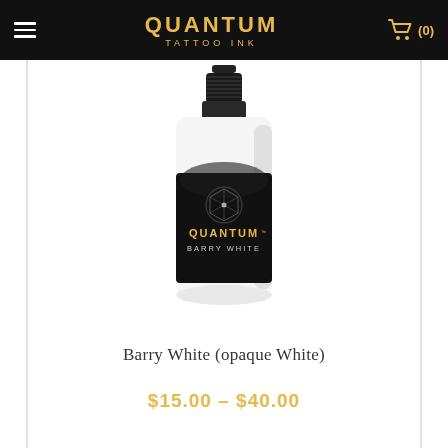QUANTUM TATTOO INK  (0)
[Figure (photo): A white dropper bottle of Quantum Tattoo Ink labeled 'Barry White' with a black label featuring a geometric snowflake/hexagon design]
Barry White (opaque White)
$15.00 - $40.00